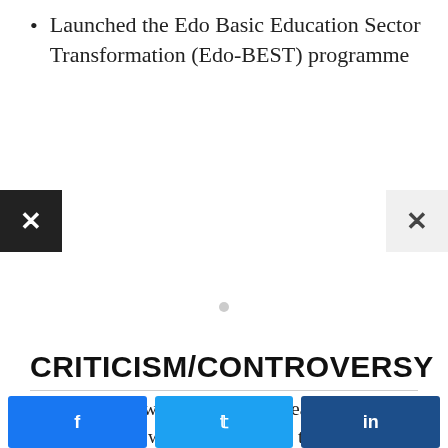Launched the Edo Basic Education Sector Transformation (Edo-BEST) programme
CRITICISM/CONTROVERSY
Governor Godwin Obaseki was heavily criticised (by Nigerians) when he described the death of Tinubu’s first son, Jide Tinubu, as a huge loss to
[Figure (screenshot): Social share buttons: Facebook, Twitter, LinkedIn]